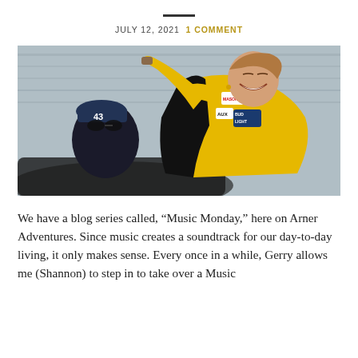JULY 12, 2021   1 COMMENT
[Figure (photo): A man in a yellow and black racing jacket with patches (including Bud Light and AUX) laughing and gesturing with his arm raised, standing near a car. Another person wearing a cap with the number 43 is visible in the foreground.]
We have a blog series called, “Music Monday,” here on Arner Adventures. Since music creates a soundtrack for our day-to-day living, it only makes sense. Every once in a while, Gerry allows me (Shannon) to step in to take over a Music